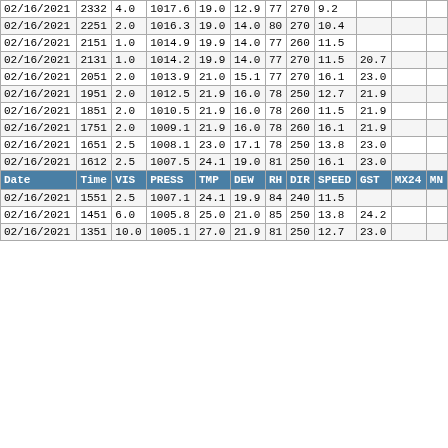| Date | Time | VIS | PRESS | TMP | DEW | RH | DIR | SPEED | GST | MX24 | MN |
| --- | --- | --- | --- | --- | --- | --- | --- | --- | --- | --- | --- |
| 02/16/2021 | 2332 | 4.0 | 1017.6 | 19.0 | 12.9 | 77 | 270 | 9.2 |  |  |  |
| 02/16/2021 | 2251 | 2.0 | 1016.3 | 19.0 | 14.0 | 80 | 270 | 10.4 |  |  |  |
| 02/16/2021 | 2151 | 1.0 | 1014.9 | 19.9 | 14.0 | 77 | 260 | 11.5 |  |  |  |
| 02/16/2021 | 2131 | 1.0 | 1014.2 | 19.9 | 14.0 | 77 | 270 | 11.5 | 20.7 |  |  |
| 02/16/2021 | 2051 | 2.0 | 1013.9 | 21.0 | 15.1 | 77 | 270 | 16.1 | 23.0 |  |  |
| 02/16/2021 | 1951 | 2.0 | 1012.5 | 21.9 | 16.0 | 78 | 250 | 12.7 | 21.9 |  |  |
| 02/16/2021 | 1851 | 2.0 | 1010.5 | 21.9 | 16.0 | 78 | 260 | 11.5 | 21.9 |  |  |
| 02/16/2021 | 1751 | 2.0 | 1009.1 | 21.9 | 16.0 | 78 | 260 | 16.1 | 21.9 |  |  |
| 02/16/2021 | 1651 | 2.5 | 1008.1 | 23.0 | 17.1 | 78 | 250 | 13.8 | 23.0 |  |  |
| 02/16/2021 | 1612 | 2.5 | 1007.5 | 24.1 | 19.0 | 81 | 250 | 16.1 | 23.0 |  |  |
| 02/16/2021 | 1551 | 2.5 | 1007.1 | 24.1 | 19.9 | 84 | 240 | 11.5 |  |  |  |
| 02/16/2021 | 1451 | 6.0 | 1005.8 | 25.0 | 21.0 | 85 | 250 | 13.8 | 24.2 |  |  |
| 02/16/2021 | 1351 | 10.0 | 1005.1 | 27.0 | 21.9 | 81 | 250 | 12.7 | 23.0 |  |  |